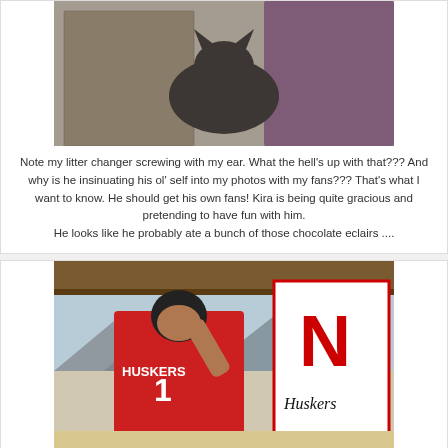[Figure (photo): Two people holding a gray cat outdoors; a man in a checkered shirt touching the cat's ear and a woman in a purple top]
Note my litter changer screwing with my ear. What the hell's up with that??? And why is he insinuating his ol' self into my photos with my fans??? That's what I want to know. He should get his own fans! Kira is being quite gracious and pretending to have fun with him.
He looks like he probably ate a bunch of those chocolate eclairs ....
[Figure (photo): A young woman wearing a red Nebraska Huskers jersey (#1) posing in front of a large Nebraska Huskers flag/banner in a desert setting]
Ya gotta hand it to my owner and Kira. They ventured out to the California Desert to find the local Husker Club.  It was 105 deg out there!  The locals